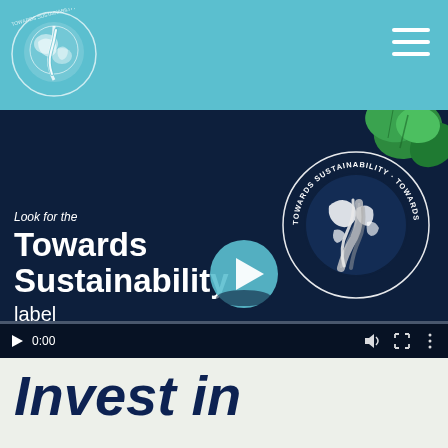[Figure (logo): Towards Sustainability circular logo with globe and path, on teal header bar]
[Figure (infographic): Video thumbnail on dark navy background showing 'Look for the Towards Sustainability label' text with play button, green leaves, and circular TS logo]
Invest in